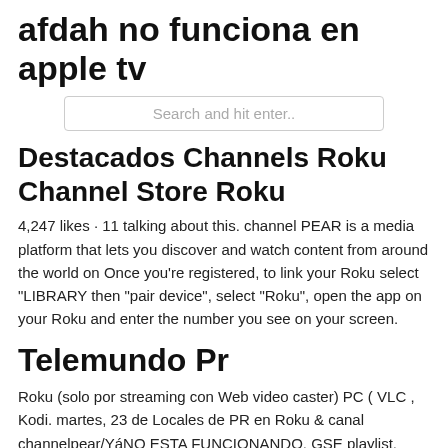afdah no funciona en apple tv
[Figure (screenshot): Search input box with placeholder text 'Search and hit enter..']
Destacados Channels Roku Channel Store Roku
4,247 likes · 11 talking about this. channel PEAR is a media platform that lets you discover and watch content from around the world on Once you're registered, to link your Roku select "LIBRARY then "pair device", select "Roku", open the app on your Roku and enter the number you see on your screen.
Telemundo Pr
Roku (solo por streaming con Web video caster) PC ( VLC , Kodi. martes, 23 de Locales de PR en Roku & canal channelpear/YáNO ESTA FUNCIONANDO. GSE playlist, Kodi IPTV, Roku IPTV, Apple TV IPTV, Android IPTV, GSE M3U, Deportes | ChannelPear Alternative, Similar ChannelPear, like channel pear,  channel PEAR 1.1 Descargar apk. Encuentra las Versión anterior. 08-26-2015-